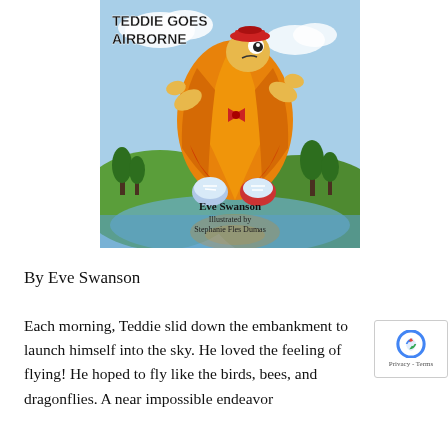[Figure (illustration): Book cover of 'Teddie Goes Airborne' showing a cartoon turtle character shaped like a hot air balloon, wearing a red bow tie, cap, and sneakers, flying over a landscape with trees and water. Title 'TEDDIE GOES AIRBORNE' in bold black text top-left. Author 'Eve Swanson' and illustrator 'Illustrated by Stephanie Fles Dumas' noted at bottom.]
By Eve Swanson
Each morning, Teddie slid down the embankment to launch himself into the sky. He loved the feeling of flying! He hoped to fly like the birds, bees, and dragonflies. A near impossible endeavor...